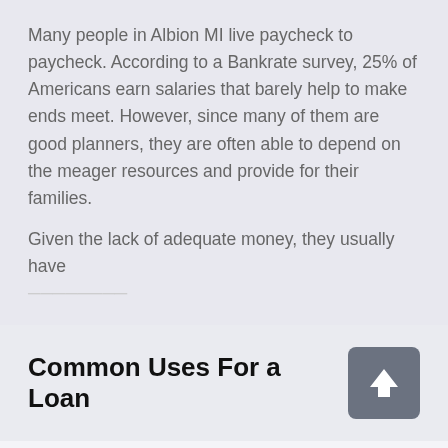Many people in Albion MI live paycheck to paycheck. According to a Bankrate survey, 25% of Americans earn salaries that barely help to make ends meet. However, since many of them are good planners, they are often able to depend on the meager resources and provide for their families.
Given the lack of adequate money, they usually have
Common Uses For a Loan
[Figure (other): Gray square button with white upward arrow icon]
Apply Now
Applying does NOT affect your credit score! No credit check to apply.